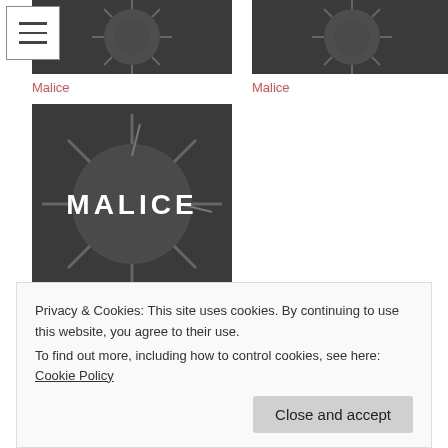[Figure (photo): Dark metallic spiky figure thumbnail top-left with hamburger menu icon overlay]
Malice
[Figure (photo): Dark metallic spiky figure thumbnail top-right]
Malice
[Figure (photo): Large dark metallic spiky figure with MALICE text overlaid in white]
Malice
Categories   Malice
19 thoughts on “Malice”
Privacy & Cookies: This site uses cookies. By continuing to use this website, you agree to their use.
To find out more, including how to control cookies, see here: Cookie Policy